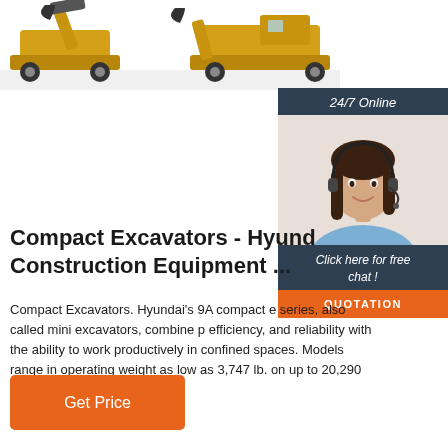[Figure (photo): Yellow compact excavator / construction equipment photo at top of page]
[Figure (photo): 24/7 Online chat widget with female customer service representative wearing headset, 'Click here for free chat!' text, and orange QUOTATION button]
Compact Excavators - Hyund Construction Equipment ...
Compact Excavators. Hyundai's 9A compact e series, also called mini excavators, combine p efficiency, and reliability with the ability to work productively in confined spaces. Models range in operating weight as low as 3,747 lb. on up to 20,290 lb.
Get Price